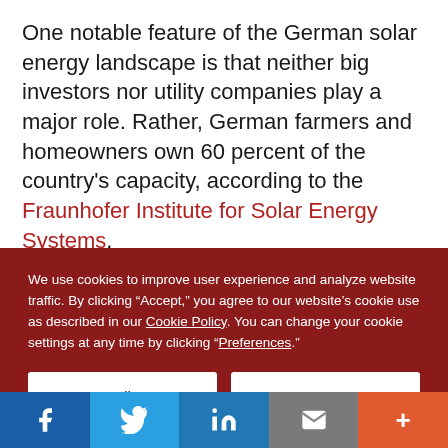One notable feature of the German solar energy landscape is that neither big investors nor utility companies play a major role. Rather, German farmers and homeowners own 60 percent of the country's capacity, according to the Fraunhofer Institute for Solar Energy Systems.
Many states and communities in the United States
We use cookies to improve user experience and analyze website traffic. By clicking "Accept," you agree to our website's cookie use as described in our Cookie Policy. You can change your cookie settings at any time by clicking "Preferences."
[Figure (screenshot): Cookie consent banner with dark red background containing Decline, Accept, and Preferences buttons]
[Figure (infographic): Social share bar with Facebook, Twitter, LinkedIn, email, and more buttons]